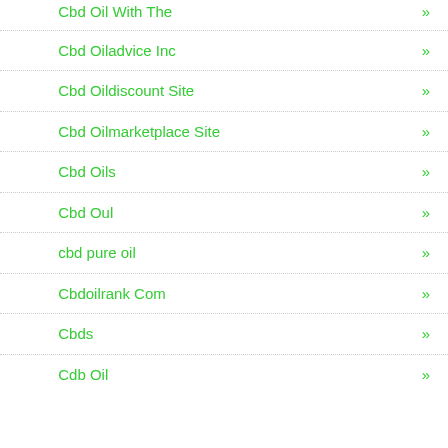Cbd Oil With The »
Cbd Oiladvice Inc »
Cbd Oildiscount Site »
Cbd Oilmarketplace Site »
Cbd Oils »
Cbd Oul »
cbd pure oil »
Cbdoilrank Com »
Cbds »
Cdb Oil »